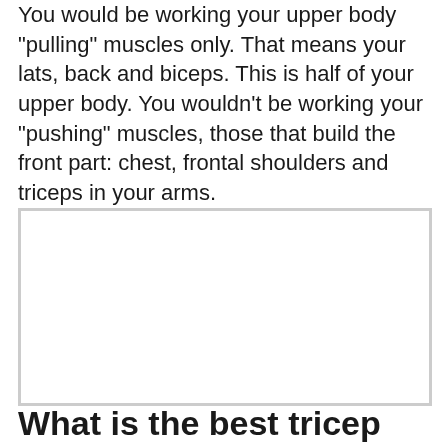You would be working your upper body “pulling” muscles only. That means your lats, back and biceps. This is half of your upper body. You wouldn’t be working your “pushing” muscles, those that build the front part: chest, frontal shoulders and triceps in your arms.
[Figure (photo): Empty white image box with border]
What is the best tricep